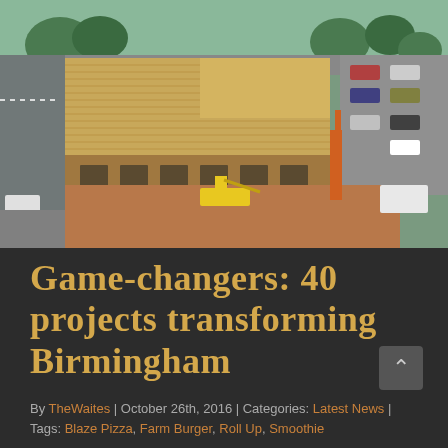[Figure (photo): Aerial drone photograph of a large multi-story building under construction in Birmingham, showing exposed wood framing and roof decking, construction equipment and cranes visible, surrounding streets and parking lots visible, green trees in background]
Game-changers: 40 projects transforming Birmingham
By TheWaites | October 26th, 2016 | Categories: Latest News | Tags: Blaze Pizza, Farm Burger, Roll Up, Smoothie